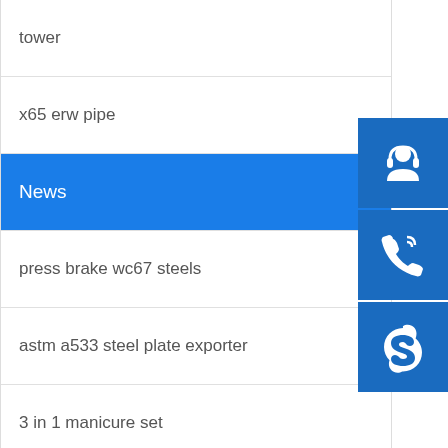tower
x65 erw pipe
News
press brake wc67 steels
astm a533 steel plate exporter
3 in 1 manicure set
factory coated mirror polish stainless sheet 430
straight flute npt taps china
q345e rolled steel joist supplier
[Figure (illustration): Three sidebar icon buttons: customer service (headset/person icon), phone/call icon, and Skype icon, all in dark blue squares]